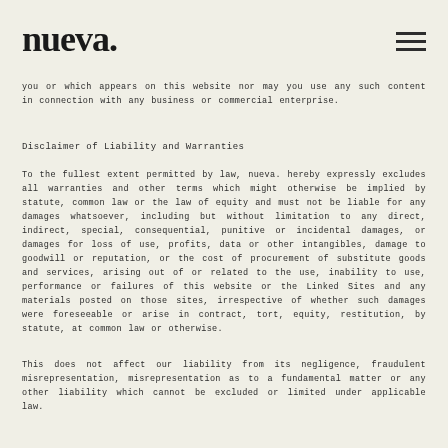nueva.
you or which appears on this website nor may you use any such content in connection with any business or commercial enterprise.
Disclaimer of Liability and Warranties
To the fullest extent permitted by law, nueva. hereby expressly excludes all warranties and other terms which might otherwise be implied by statute, common law or the law of equity and must not be liable for any damages whatsoever, including but without limitation to any direct, indirect, special, consequential, punitive or incidental damages, or damages for loss of use, profits, data or other intangibles, damage to goodwill or reputation, or the cost of procurement of substitute goods and services, arising out of or related to the use, inability to use, performance or failures of this website or the Linked Sites and any materials posted on those sites, irrespective of whether such damages were foreseeable or arise in contract, tort, equity, restitution, by statute, at common law or otherwise.
This does not affect our liability from its negligence, fraudulent misrepresentation, misrepresentation as to a fundamental matter or any other liability which cannot be excluded or limited under applicable law.